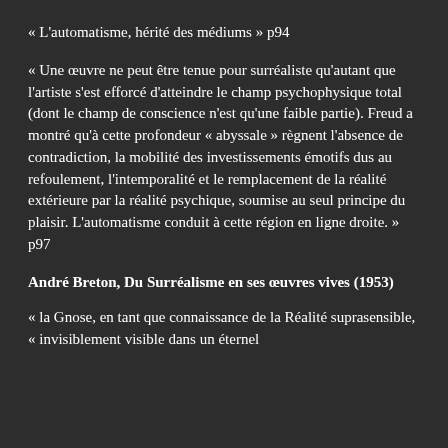« L'automatisme, hérité des médiums » p94
« Une œuvre ne peut être tenue pour surréaliste qu'autant que l'artiste s'est efforcé d'atteindre le champ psychophysique total (dont le champ de conscience n'est qu'une faible partie). Freud a montré qu'à cette profondeur « abyssale » règnent l'absence de contradiction, la mobilité des investissements émotifs dus au refoulement, l'intemporalité et le remplacement de la réalité extérieure par la réalité psychique, soumise au seul principe du plaisir. L'automatisme conduit à cette région en ligne droite. » p97
André Breton, Du Surréalisme en ses œuvres vives (1953)
« la Gnose, en tant que connaissance de la Réalité suprasensible, « invisiblement visible dans un éternel